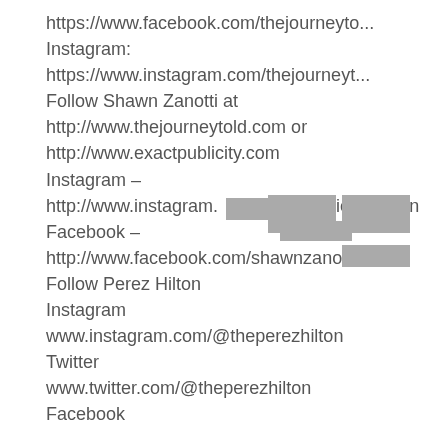https://www.facebook.com/thejourneyto...
Instagram:
https://www.instagram.com/thejourneyt...
Follow Shawn Zanotti at
http://www.thejourneytold.com or
http://www.exactpublicity.com
Instagram –
http://www.instagram.com/publicistshawn
Facebook –
http://www.facebook.com/shawnzanotti
Follow Perez Hilton
Instagram
www.instagram.com/@theperezhilton
Twitter
www.twitter.com/@theperezhilton
Facebook